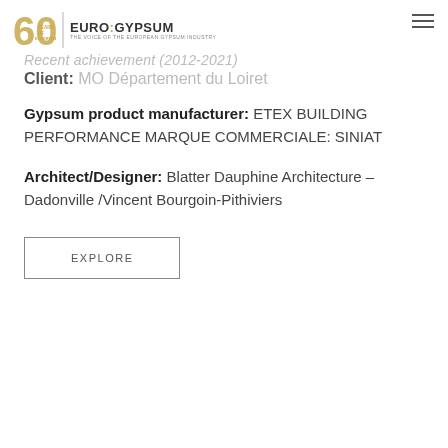EURO:GYPSUM — 60 Years of Expertise — The voice of the European Gypsum Industry
Recent achievement (2012-2021)
Client: MO Département du Loiret
Gypsum product manufacturer: ETEX BUILDING PERFORMANCE MARQUE COMMERCIALE: SINIAT
Architect/Designer: Blatter Dauphine Architecture – Dadonville /Vincent Bourgoin-Pithiviers
EXPLORE